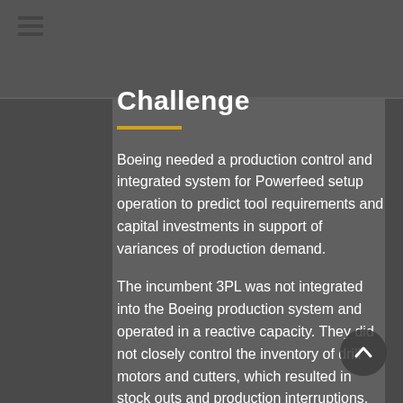Challenge
Boeing needed a production control and integrated system for Powerfeed setup operation to predict tool requirements and capital investments in support of variances of production demand.
The incumbent 3PL was not integrated into the Boeing production system and operated in a reactive capacity. They did not closely control the inventory of drill motors and cutters, which resulted in stock outs and production interruptions. They also had no method to predict drill motor and cutter needs and production rate increased as a result. Finally, they had an inefficient drill motor setup